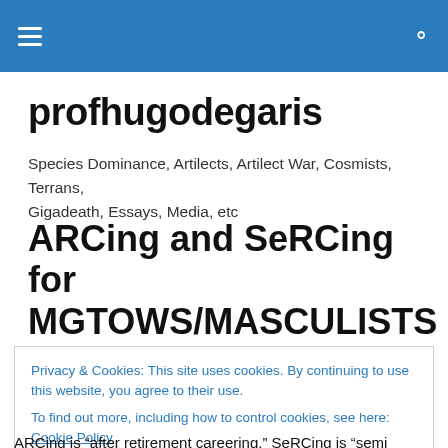profhugodegaris (site navigation header bar)
profhugodegaris
Species Dominance, Artilects, Artilect War, Cosmists, Terrans, Gigadeath, Essays, Media, etc
ARCing and SeRCing for MGTOWS/MASCULISTS
Privacy & Cookies: This site uses cookies. By continuing to use this website, you agree to their use.
To find out more, including how to control cookies, see here: Cookie Policy
Close and accept
ARCing is “after retirement careering.” SeRCing is “semi